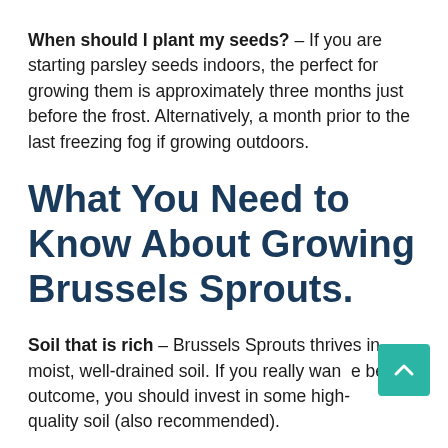When should I plant my seeds? – If you are starting parsley seeds indoors, the perfect for growing them is approximately three months just before the frost. Alternatively, a month prior to the last freezing fog if growing outdoors.
What You Need to Know About Growing Brussels Sprouts.
Soil that is rich – Brussels Sprouts thrives in moist, well-drained soil. If you really want the best outcome, you should invest in some high-quality soil (also recommended).